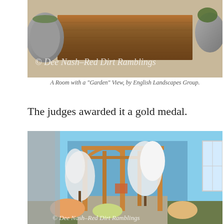[Figure (photo): Overhead view of a wooden table/planter with stone elements and a watermark reading '© Dee Nash–Red Dirt Ramblings']
A Room with a "Garden" View, by English Landscapes Group.
The judges awarded it a gold medal.
[Figure (photo): Garden display showing a wooden pergola structure with white flowering trees and colorful spring flowers, with a watermark reading '© Dee Nash–Red Dirt Ramblings']